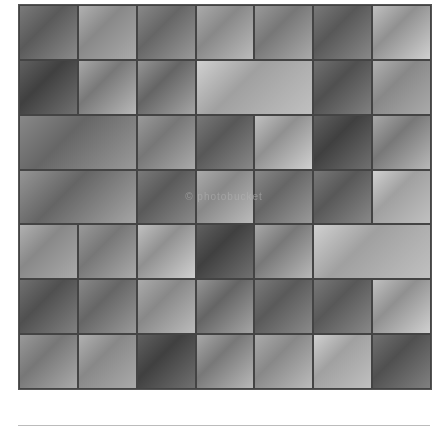[Figure (photo): A 7x7 collage grid of black-and-white portrait photographs and forensic/crime-related images, watermarked with a photo stock service watermark.]